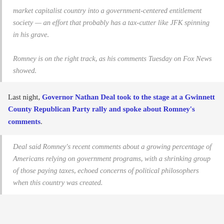market capitalist country into a government-centered entitlement society — an effort that probably has a tax-cutter like JFK spinning in his grave.

Romney is on the right track, as his comments Tuesday on Fox News showed.
Last night, Governor Nathan Deal took to the stage at a Gwinnett County Republican Party rally and spoke about Romney's comments.
Deal said Romney's recent comments about a growing percentage of Americans relying on government programs, with a shrinking group of those paying taxes, echoed concerns of political philosophers when this country was created.